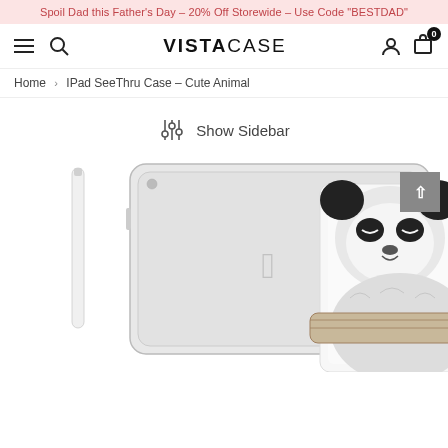Spoil Dad this Father's Day – 20% Off Storewide – Use Code "BESTDAD"
[Figure (screenshot): VistaCase navigation bar with hamburger menu, search icon, VISTACASE brand logo, user icon, and cart icon with badge 0]
Home > IPad SeeThru Case – Cute Animal
[Figure (other): Show Sidebar filter toggle with sliders icon]
[Figure (photo): Product photo showing two iPad cases: a clear transparent back case and a white folio case with a detailed black-and-white illustration of a sleeping panda]